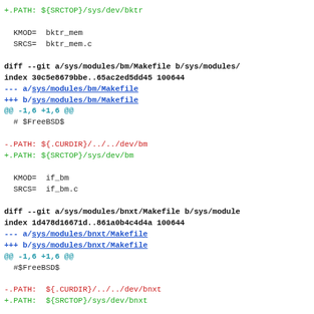+.PATH: ${SRCTOP}/sys/dev/bktr

  KMOD=  bktr_mem
  SRCS=  bktr_mem.c

diff --git a/sys/modules/bm/Makefile b/sys/modules/
index 30c5e8679bbe..65ac2ed5dd45 100644
--- a/sys/modules/bm/Makefile
+++ b/sys/modules/bm/Makefile
@@ -1,6 +1,6 @@
  # $FreeBSD$

-.PATH: ${.CURDIR}/../../dev/bm
+.PATH: ${SRCTOP}/sys/dev/bm

  KMOD=  if_bm
  SRCS=  if_bm.c

diff --git a/sys/modules/bnxt/Makefile b/sys/module
index 1d478d16671d..861a0b4c4d4a 100644
--- a/sys/modules/bnxt/Makefile
+++ b/sys/modules/bnxt/Makefile
@@ -1,6 +1,6 @@
  #$FreeBSD$

-.PATH:  ${.CURDIR}/../../dev/bnxt
+.PATH:  ${SRCTOP}/sys/dev/bnxt

  KMOD   = if_bnxt
  SRCS   = device_if.h bus_if.h pci_if.h pci_iov_if